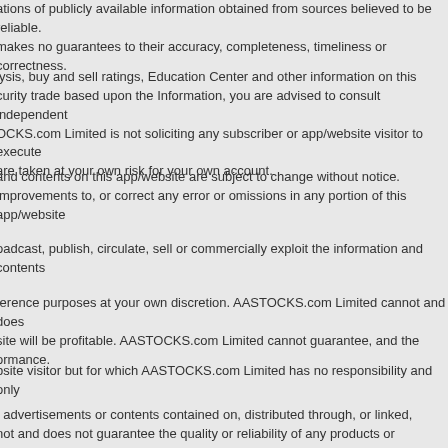ations of publicly available information obtained from sources believed to be reliable. makes no guarantees to their accuracy, completeness, timeliness or correctness.
lysis, buy and sell ratings, Education Center and other information on this curity trade based upon the Information, you are advised to consult independent OCKS.com Limited is not soliciting any subscriber or app/website visitor to execute are taken at your own risk for your own account.
and contents on this app/website are subject to change without notice. improvements to, or correct any error or omissions in any portion of this app/website
oadcast, publish, circulate, sell or commercially exploit the information and contents
ference purposes at your own discretion. AASTOCKS.com Limited cannot and does site will be profitable. AASTOCKS.com Limited cannot guarantee, and the ormance.
bsite visitor but for which AASTOCKS.com Limited has no responsibility and only
, advertisements or contents contained on, distributed through, or linked, not and does not guarantee the quality or reliability of any products or information his app/website.
ended for trading purposes; (ii) AATV does not and none of the information sell any security, or to provide legal, tax, accounting, or investment advice or AATV is not intended for use by, or distribution to, any person or entity in any